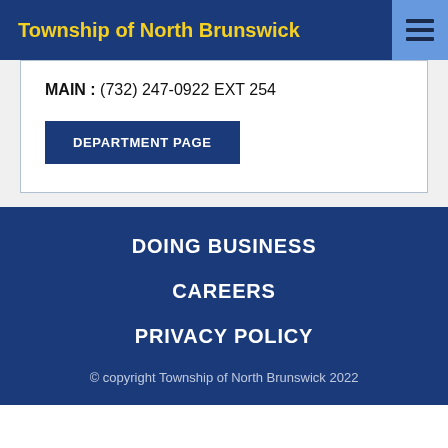Township of North Brunswick
MAIN : (732) 247-0922 EXT 254
DEPARTMENT PAGE
DOING BUSINESS
CAREERS
PRIVACY POLICY
© copyright Township of North Brunswick 2022